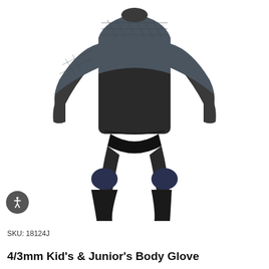[Figure (photo): A black and dark gray full-body wetsuit displayed on an invisible mannequin, showing long sleeves, long legs with knee padding in navy/dark blue, and textured panels on the upper chest and arms.]
SKU: 18124J
4/3mm Kid's & Junior's Body Glove